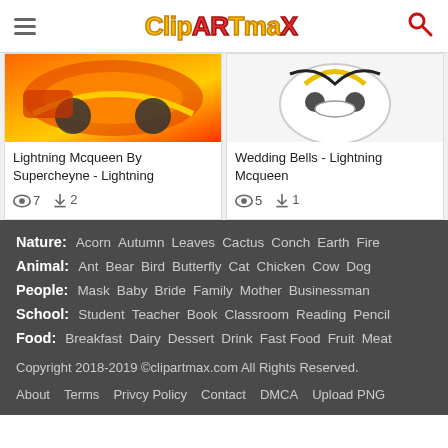ClipArtMax
[Figure (screenshot): Two clipart cards: 'Lightning Mcqueen By Supercheyne - Lightning' with 7 views and 2 downloads, and 'Wedding Bells - Lightning Mcqueen' with 5 views and 1 download]
Nature: Acorn  Autumn  Leaves  Cactus  Conch  Earth  Fire
Animal: Ant  Bear  Bird  Butterfly  Cat  Chicken  Cow  Dog
People: Mask  Baby  Bride  Family  Mother  Businessman
School: Student  Teacher  Book  Classroom  Reading  Pencil
Food: Breakfast  Dairy  Dessert  Drink  Fast Food  Fruit  Meat
Copyright 2018-2019 ©clipartmax.com All Rights Reserved.
About  Terms  Privcy Policy  Contact  DMCA  Upload PNG